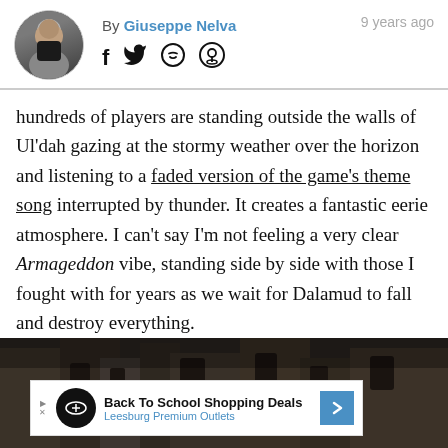By Giuseppe Nelva  9 years ago
hundreds of players are standing outside the walls of Ul'dah gazing at the stormy weather over the horizon and listening to a faded version of the game's theme song interrupted by thunder. It creates a fantastic eerie atmosphere. I can't say I'm not feeling a very clear Armageddon vibe, standing side by side with those I fought with for years as we wait for Dalamud to fall and destroy everything.
[Figure (photo): Dark fantasy game scene showing a stone building/cathedral, with an advertisement banner overlay for 'Back To School Shopping Deals - Leesburg Premium Outlets']